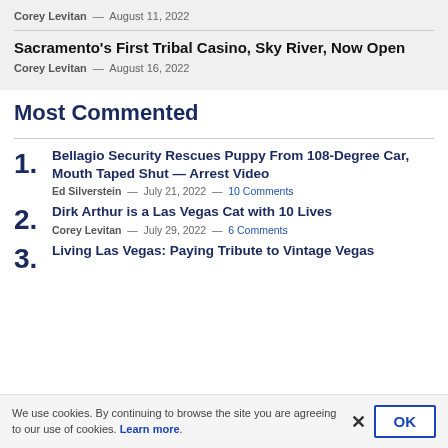Corey Levitan — August 11, 2022
Sacramento's First Tribal Casino, Sky River, Now Open
Corey Levitan — August 16, 2022
Most Commented
1. Bellagio Security Rescues Puppy From 108-Degree Car, Mouth Taped Shut — Arrest Video
Ed Silverstein — July 21, 2022 — 10 Comments
2. Dirk Arthur is a Las Vegas Cat with 10 Lives
Corey Levitan — July 29, 2022 — 6 Comments
3. Living Las Vegas: Paying Tribute to Vintage Vegas
We use cookies. By continuing to browse the site you are agreeing to our use of cookies. Learn more.